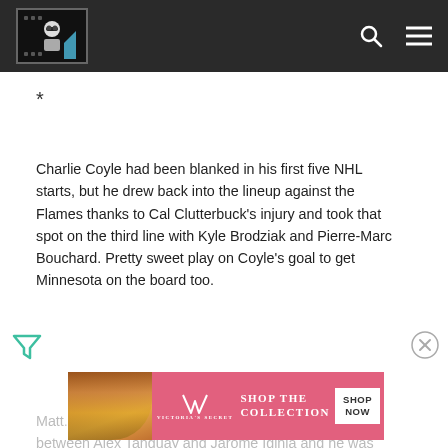[Site logo and navigation header]
*
Charlie Coyle had been blanked in his first five NHL starts, but he drew back into the lineup against the Flames thanks to Cal Clutterbuck's injury and took that spot on the third line with Kyle Brodziak and Pierre-Marc Bouchard. Pretty sweet play on Coyle's goal to get Minnesota on the board too.
[Figure (photo): Victoria's Secret advertisement banner with a model photo, VS logo, 'SHOP THE COLLECTION' text, and 'SHOP NOW' button]
Matt... between Alex Tanguay and Jarome Iginla and he was